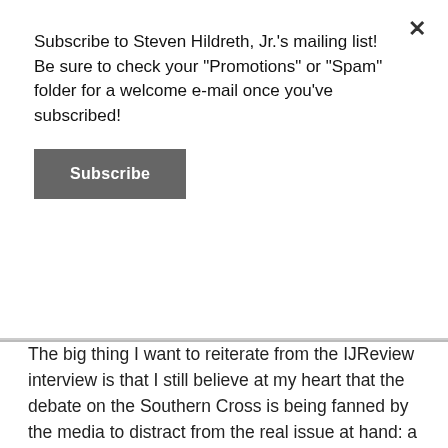Subscribe to Steven Hildreth, Jr.'s mailing list! Be sure to check your "Promotions" or "Spam" folder for a welcome e-mail once you've subscribed!
Subscribe
The big thing I want to reiterate from the IJReview interview is that I still believe at my heart that the debate on the Southern Cross is being fanned by the media to distract from the real issue at hand: a deranged individual, one part sociopath and one part terrorist, went into a historical black church in Charleston, South Carolina, and murdered nine people in cold blood with the intent of starting a race war. Rather than actually address this and defuse the situation, we're encouraging it with the debate over the Southern Cross. Others are using it as an